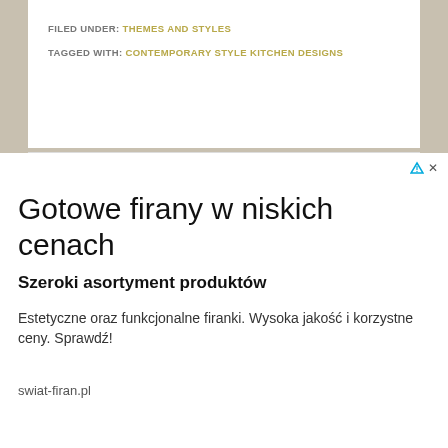FILED UNDER: THEMES AND STYLES
TAGGED WITH: CONTEMPORARY STYLE KITCHEN DESIGNS
Next Page »
[Figure (other): Advertisement with triangle and X close icons]
Gotowe firany w niskich cenach
Szeroki asortyment produktów
Estetyczne oraz funkcjonalne firanki. Wysoka jakość i korzystne ceny. Sprawdź!
swiat-firan.pl